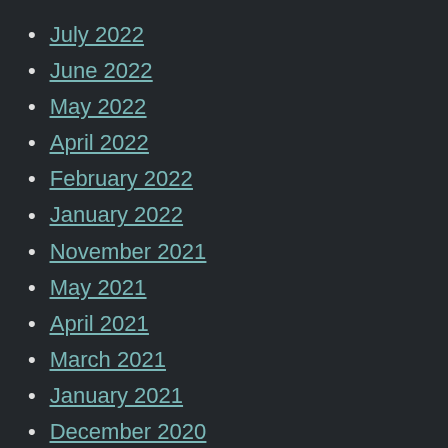July 2022
June 2022
May 2022
April 2022
February 2022
January 2022
November 2021
May 2021
April 2021
March 2021
January 2021
December 2020
September 2020
February 2020
January 2020